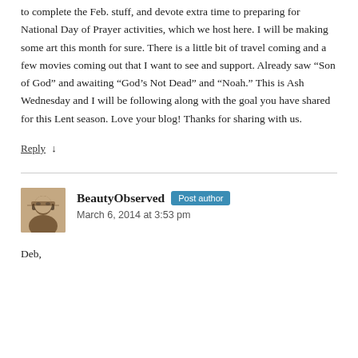to complete the Feb. stuff, and devote extra time to preparing for National Day of Prayer activities, which we host here. I will be making some art this month for sure. There is a little bit of travel coming and a few movies coming out that I want to see and support. Already saw “Son of God” and awaiting “God’s Not Dead” and “Noah.” This is Ash Wednesday and I will be following along with the goal you have shared for this Lent season. Love your blog! Thanks for sharing with us.
Reply ↓
BeautyObserved Post author
March 6, 2014 at 3:53 pm
Deb,